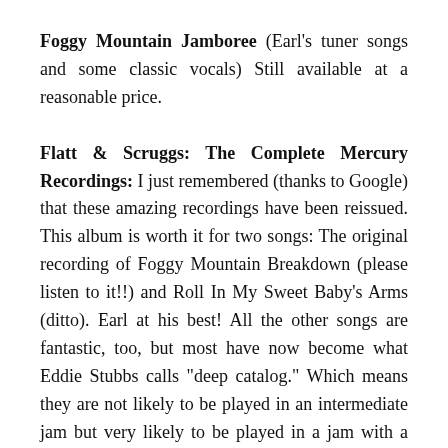Foggy Mountain Jamboree (Earl's tuner songs and some classic vocals) Still available at a reasonable price.
Flatt & Scruggs: The Complete Mercury Recordings: I just remembered (thanks to Google) that these amazing recordings have been reissued. This album is worth it for two songs: The original recording of Foggy Mountain Breakdown (please listen to it!!) and Roll In My Sweet Baby's Arms (ditto). Earl at his best! All the other songs are fantastic, too, but most have now become what Eddie Stubbs calls "deep catalog." Which means they are not likely to be played in an intermediate jam but very likely to be played in a jam with a group of Scruggs fanatics like me and Casey and Rod and Chris and Mike and John